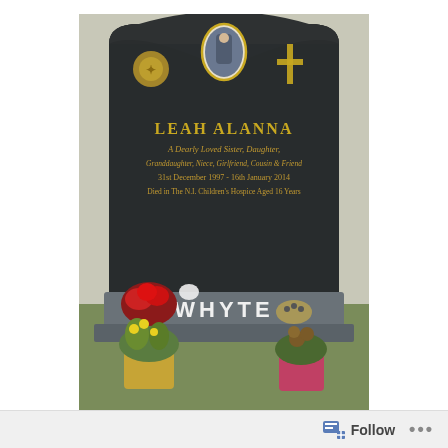[Figure (photo): Photo of a dark granite gravestone for Leah Alanna Whyte. The headstone reads: LEAH ALANNA / A Dearly Loved Sister, Daughter, / Granddaughter, Niece, Girlfriend, Cousin & Friend / 31st December 1997 - 16th January 2014 / Died in The N.I. Children's Hospice Aged 16 Years. The stone has a portrait photo oval at the top center, a gold emblem on the left, and a gold cross on the right. The base reads WHYTE in white letters on a grey slab. Red roses, wrapped flowers, and potted plants are placed at the grave.]
The small item in the netting near the roses is a bag of chocolate coins – each of our children gets these in their Christmas
Follow ...